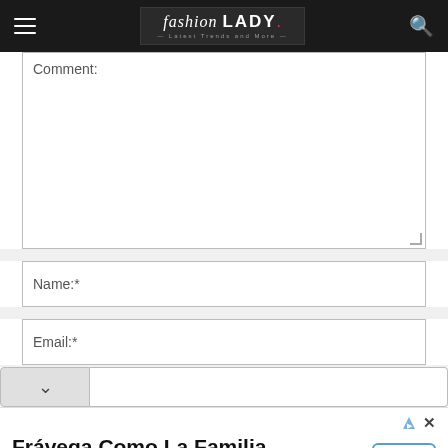Fashion LADY - Latest Trends and More
Comment:
Name:*
Email:*
Frávega Como La Familia
Frávega Es Como La Familia Que Uno Elige, Cerca Tuyo Siempre Frávega
Abrir